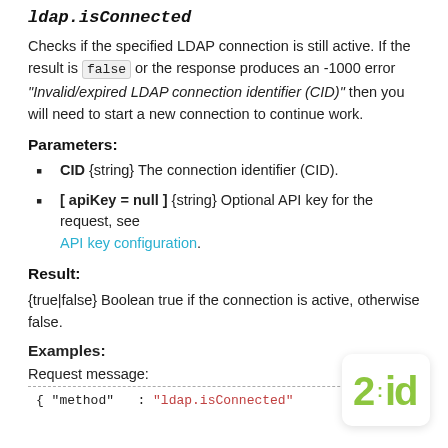ldap.isConnected
Checks if the specified LDAP connection is still active. If the result is false or the response produces an -1000 error "Invalid/expired LDAP connection identifier (CID)" then you will need to start a new connection to continue work.
Parameters:
CID {string} The connection identifier (CID).
[ apiKey = null ] {string} Optional API key for the request, see API key configuration.
Result:
{true|false} Boolean true if the connection is active, otherwise false.
Examples:
Request message:
{ "method" : "ldap.isConnected"